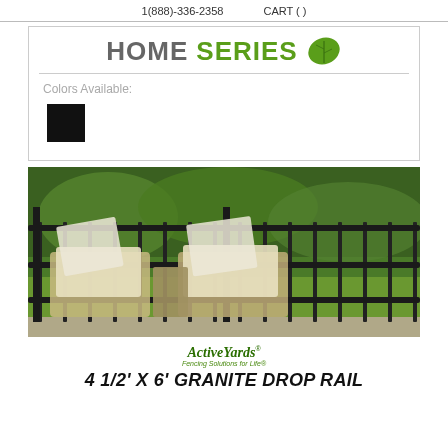1(888)-336-2358    CART ( )
[Figure (logo): HOME SERIES logo with green leaf icon]
Colors Available:
[Figure (other): Black color swatch square]
[Figure (photo): Photo of black aluminum fence with lounge chairs on a patio next to a green lawn]
ActiveYards Fencing Solutions for Life
4 1/2' X 6' GRANITE DROP RAIL